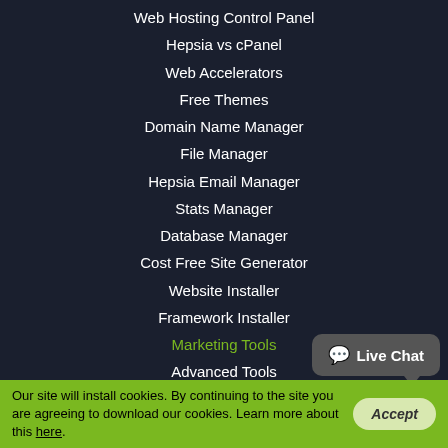Web Hosting Control Panel
Hepsia vs cPanel
Web Accelerators
Free Themes
Domain Name Manager
File Manager
Hepsia Email Manager
Stats Manager
Database Manager
Cost Free Site Generator
Website Installer
Framework Installer
Marketing Tools
Advanced Tools
Support
Support
Our site will install cookies. By continuing to the site you are agreeing to download our cookies. Learn more about this here.